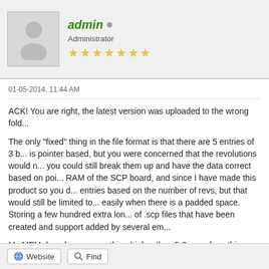admin
Administrator
★★★★★★★
01-05-2014, 11:44 AM
ACK! You are right, the latest version was uploaded to the wrong fold...
The only "fixed" thing in the file format is that there are 5 entries of 3... is pointer based, but you were concerned that the revolutions would n... you could still break them up and have the data correct based on poi... RAM of the SCP board, and since I have made this product so you d... entries based on the number of revs, but that would still be limited to... easily when there is a padded space. Storing a few hundred extra lon... of .scp files that have been created and support added by several em...
My MFM decoder uses anything higher than 5.2us and anything lowe... 7.2us is considered 8us. Of course, any data that is below 2.9us or a... You never need to know any type of decoded data to copy disks usin...
Website
Find